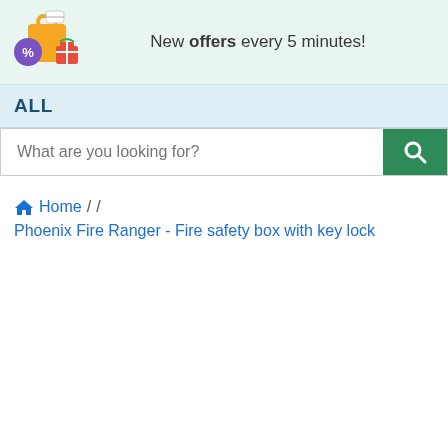New offers every 5 minutes!
ALL
What are you looking for?
Home / / Phoenix Fire Ranger - Fire safety box with key lock